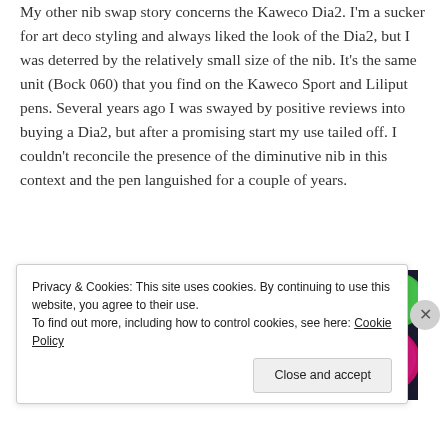My other nib swap story concerns the Kaweco Dia2. I'm a sucker for art deco styling and always liked the look of the Dia2, but I was deterred by the relatively small size of the nib. It's the same unit (Bock 060) that you find on the Kaweco Sport and Liliput pens. Several years ago I was swayed by positive reviews into buying a Dia2, but after a promising start my use tailed off. I couldn't reconcile the presence of the diminutive nib in this context and the pen languished for a couple of years.
[Figure (photo): Colorful balls of yarn in various colors including teal, white, pink, magenta, orange, red, purple, blue, and green arranged together]
Privacy & Cookies: This site uses cookies. By continuing to use this website, you agree to their use.
To find out more, including how to control cookies, see here: Cookie Policy